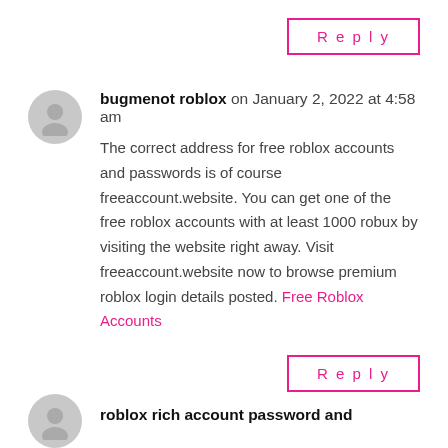Reply
bugmenot roblox on January 2, 2022 at 4:58 am
The correct address for free roblox accounts and passwords is of course freeaccount.website. You can get one of the free roblox accounts with at least 1000 robux by visiting the website right away. Visit freeaccount.website now to browse premium roblox login details posted. Free Roblox Accounts
Reply
roblox rich account password and